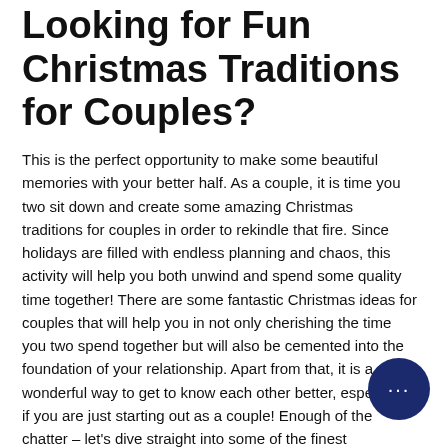Looking for Fun Christmas Traditions for Couples?
This is the perfect opportunity to make some beautiful memories with your better half. As a couple, it is time you two sit down and create some amazing Christmas traditions for couples in order to rekindle that fire. Since holidays are filled with endless planning and chaos, this activity will help you both unwind and spend some quality time together! There are some fantastic Christmas ideas for couples that will help you in not only cherishing the time you two spend together but will also be cemented into the foundation of your relationship. Apart from that, it is a wonderful way to get to know each other better, especially if you are just starting out as a couple! Enough of the chatter – let's dive straight into some of the finest Christmas traditions that you two can celebrate as a couple to cherish your everlasting bond!